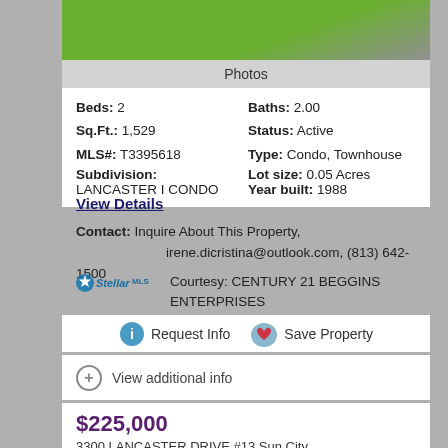[Figure (photo): Green grass lawn photo, top portion visible]
Photos
Beds: 2
Baths: 2.00
Sq.Ft.: 1,529
Status: Active
MLS#: T3395618
Type: Condo, Townhouse
Subdivision: LANCASTER I CONDO
Lot size: 0.05 Acres
Year built: 1988
View Details
Contact: Inquire About This Property, irene.dicristina@outlook.com, (813) 642-1500
Stellar MLS Courtesy: CENTURY 21 BEGGINS ENTERPRISES
Request Info   Save Property
View additional info
$225,000
3300 LANCASTER DRIVE #13 Sun City